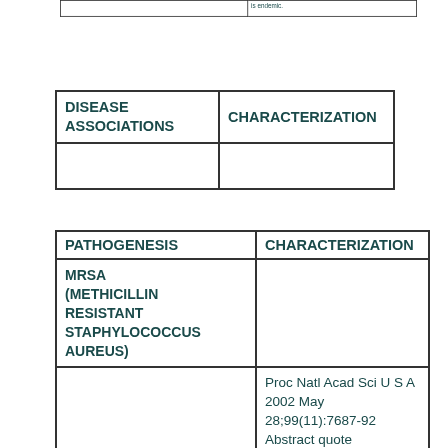|  | is endemic. |
| --- | --- |
|  |  |
| DISEASE ASSOCIATIONS | CHARACTERIZATION |
| --- | --- |
|  |  |
| PATHOGENESIS | CHARACTERIZATION |
| --- | --- |
| MRSA (METHICILLIN RESISTANT STAPHYLOCOCCUS AUREUS) |  |
|  | Proc Natl Acad Sci U S A 2002 May 28;99(11):7687-92 Abstract quote

Methicillin-resistant Staphylococcus aureus (MRSA) is a major cause |